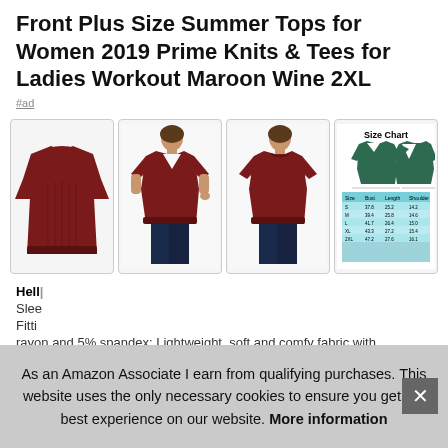Front Plus Size Summer Tops for Women 2019 Prime Knits & Tees for Ladies Workout Maroon Wine 2XL
#ad
[Figure (photo): Four product images: (1) dark red short-sleeve top laid flat showing back/ruched front view; (2) woman wearing dark red V-neck top from front; (3) woman wearing dark red top, back view; (4) Size chart showing green tops with measurement table.]
Hello... Sleep... Fitti... rayon and 5% spandex; Lightweight, soft and comfy fabric with
As an Amazon Associate I earn from qualifying purchases. This website uses the only necessary cookies to ensure you get the best experience on our website. More information